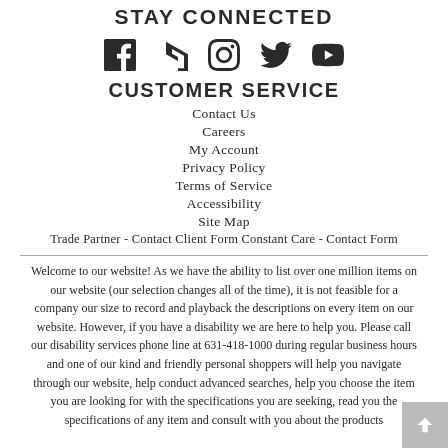STAY CONNECTED
[Figure (illustration): Row of five social media icons: Facebook, Houzz, Instagram, Twitter, YouTube]
CUSTOMER SERVICE
Contact Us
Careers
My Account
Privacy Policy
Terms of Service
Accessibility
Site Map
Trade Partner - Contact Client Form Constant Care - Contact Form
Welcome to our website! As we have the ability to list over one million items on our website (our selection changes all of the time), it is not feasible for a company our size to record and playback the descriptions on every item on our website. However, if you have a disability we are here to help you. Please call our disability services phone line at 631-418-1000 during regular business hours and one of our kind and friendly personal shoppers will help you navigate through our website, help conduct advanced searches, help you choose the item you are looking for with the specifications you are seeking, read you the specifications of any item and consult with you about the products